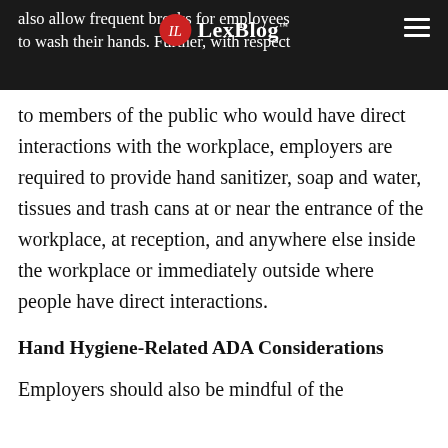also allow frequent breaks for employees to wash their hands. Further, with respect
to members of the public who would have direct interactions with the workplace, employers are required to provide hand sanitizer, soap and water, tissues and trash cans at or near the entrance of the workplace, at reception, and anywhere else inside the workplace or immediately outside where people have direct interactions.
Hand Hygiene-Related ADA Considerations
Employers should also be mindful of the